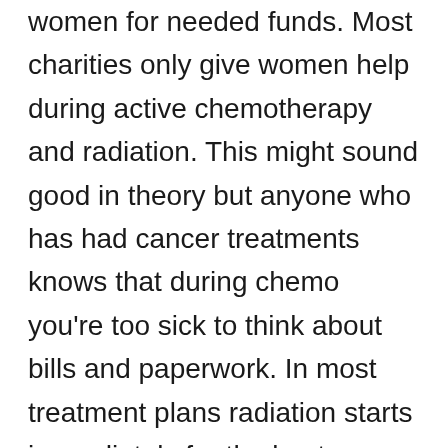...women for needed funds. Most charities only give women help during active chemotherapy and radiation. This might sound good in theory but anyone who has had cancer treatments knows that during chemo you're too sick to think about bills and paperwork. In most treatment plans radiation starts immediately for the best results. It is fast acting but extremely damaging and the average length of time is anywhere from four to six weeks for